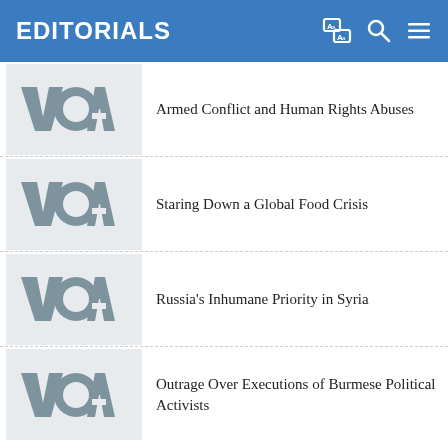EDITORIALS
Armed Conflict and Human Rights Abuses
Staring Down a Global Food Crisis
Russia's Inhumane Priority in Syria
Outrage Over Executions of Burmese Political Activists